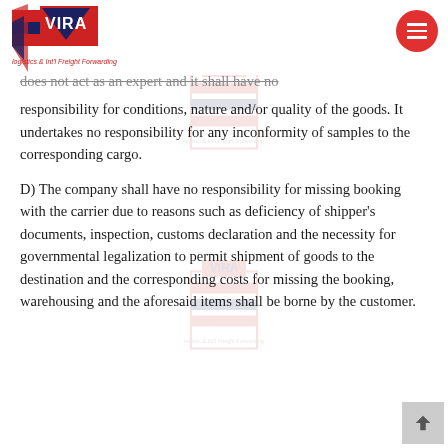VIRA logistics & Int'l Freight Forwarding
does not act as an expert and it shall have no responsibility for conditions, nature and/or quality of the goods. It undertakes no responsibility for any inconformity of samples to the corresponding cargo.
D) The company shall have no responsibility for missing booking with the carrier due to reasons such as deficiency of shipper’s documents, inspection, customs declaration and the necessity for governmental legalization to permit shipment of goods to the destination and the corresponding costs for missing the booking, warehousing and the aforesaid items shall be borne by the customer.